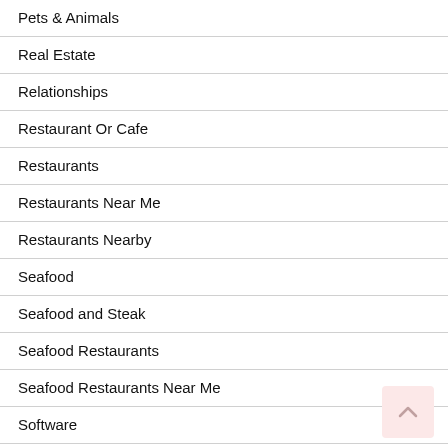Pets & Animals
Real Estate
Relationships
Restaurant Or Cafe
Restaurants
Restaurants Near Me
Restaurants Nearby
Seafood
Seafood and Steak
Seafood Restaurants
Seafood Restaurants Near Me
Software
Sports & Athletics